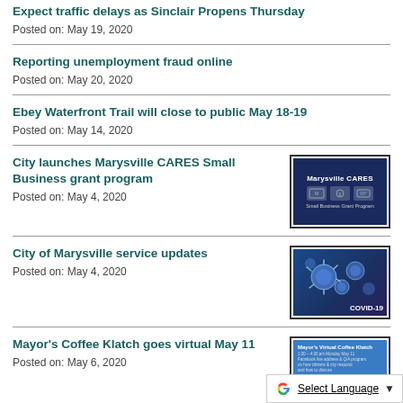Expect traffic delays as Sinclair Propens Thursday
Posted on: May 19, 2020
Reporting unemployment fraud online
Posted on: May 20, 2020
Ebey Waterfront Trail will close to public May 18-19
Posted on: May 14, 2020
City launches Marysville CARES Small Business grant program
Posted on: May 4, 2020
[Figure (illustration): Marysville CARES Small Business Grant Program logo on dark blue background]
City of Marysville service updates
Posted on: May 4, 2020
[Figure (photo): COVID-19 virus illustration on blue background with COVID-19 label]
Mayor's Coffee Klatch goes virtual May 11
Posted on: May 6, 2020
[Figure (screenshot): Mayor's Virtual Coffee Klatch event flyer on blue background]